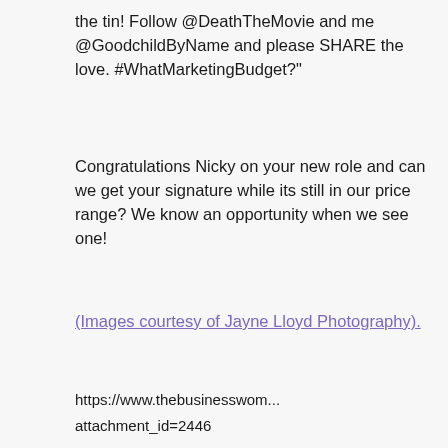the tin! Follow @DeathTheMovie and me @GoodchildByName and please SHARE the love. #WhatMarketingBudget?"
Congratulations Nicky on your new role and can we get your signature while its still in our price range? We know an opportunity when we see one!
(Images courtesy of Jayne Lloyd Photography).
https://www.thebusinesswom... attachment_id=2446